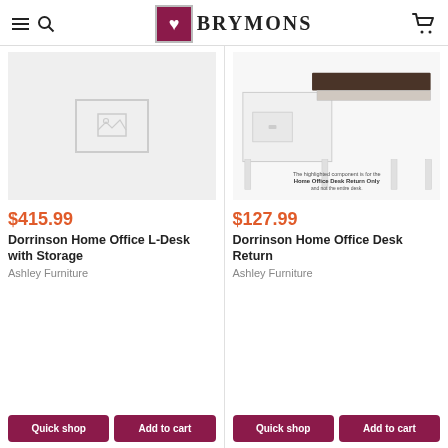BRYMONS
[Figure (photo): Placeholder image (no product image available) for Dorrinson Home Office L-Desk with Storage]
$415.99
Dorrinson Home Office L-Desk with Storage
Ashley Furniture
Quick shop
Add to cart
[Figure (photo): Product photo of Dorrinson Home Office Desk Return by Ashley Furniture. White desk with dark brown top return piece. Text overlay reads: The highlighted component is for the Home Office Desk Return Only and not the entire desk.]
$127.99
Dorrinson Home Office Desk Return
Ashley Furniture
Quick shop
Add to cart